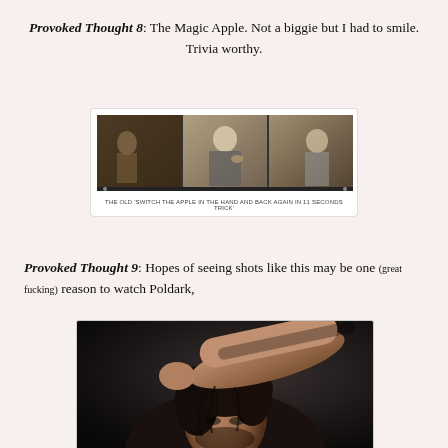Provoked Thought 8: The Magic Apple. Not a biggie but I had to smile. Trivia worthy.
[Figure (photo): Film strip style screenshot showing three frames of a TV scene with the caption: THE OLD 'SWITCH THE APPLE IN THE HAND AND BACK AGAIN IN 11 SECONDS TRICK']
THE OLD 'SWITCH THE APPLE IN THE HAND AND BACK AGAIN IN 11 SECONDS TRICK'
Provoked Thought 9: Hopes of seeing shots like this may be one (great fucking) reason to watch Poldark,
[Figure (photo): Dark dramatic portrait photo of a man with dark curly hair and muscular arm raised near his face, shirtless, moody lighting.]